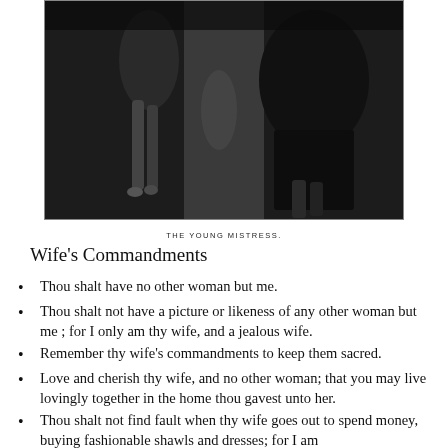[Figure (illustration): A black and white engraving or photograph depicting two figures in Victorian-era dress, partially cropped at top.]
THE YOUNG MISTRESS.
Wife's Commandments
Thou shalt have no other woman but me.
Thou shalt not have a picture or likeness of any other woman but me ; for I only am thy wife, and a jealous wife.
Remember thy wife's commandments to keep them sacred.
Love and cherish thy wife, and no other woman; that you may live lovingly together in the home thou gavest unto her.
Thou shalt not find fault when thy wife goes out to spend money, buying fashionable shawls and dresses; for I am